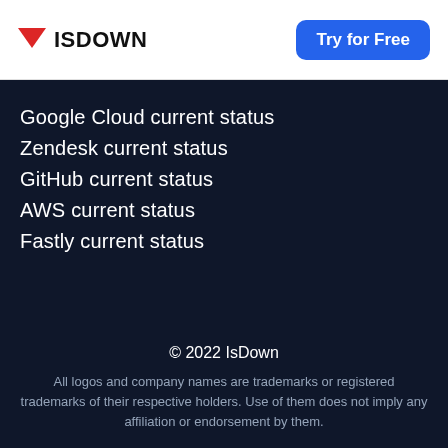ISDOWN | Try for Free
Google Cloud current status
Zendesk current status
GitHub current status
AWS current status
Fastly current status
© 2022 IsDown
All logos and company names are trademarks or registered trademarks of their respective holders. Use of them does not imply any affiliation or endorsement by them.